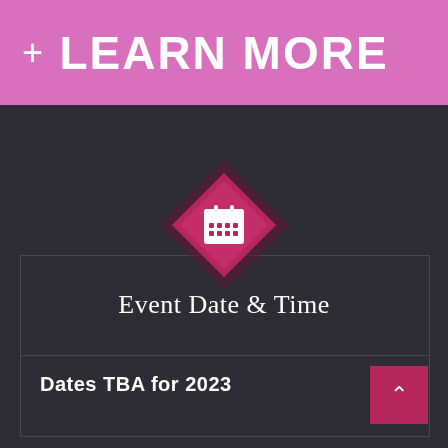LEARN MORE
[Figure (illustration): Diamond-shaped icon with a calendar symbol in pink/magenta gradient on a dark background]
Event Date & Time
Dates TBA for 2023